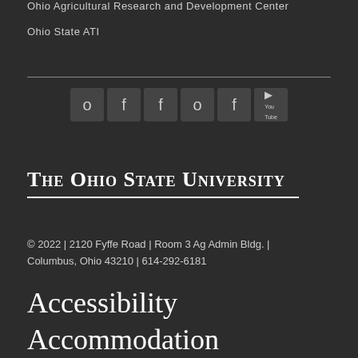Ohio Agricultural Research and Development Center
Ohio State ATI
[Figure (other): Social media icons row: Google+, Facebook, Facebook, Google+, Facebook, YouTube]
The Ohio State University
© 2022 | 2120 Fyffe Road | Room 3 Ag Admin Bldg. | Columbus, Ohio 43210 | 614-292-6181
Accessibility
Accommodation